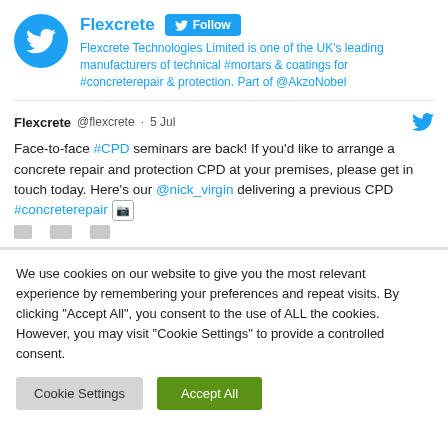[Figure (screenshot): Twitter profile header for Flexcrete with avatar, Follow button, and bio]
Flexcrete Technologies Limited is one of the UK's leading manufacturers of technical #mortars & coatings for #concreterepair & protection. Part of @AkzoNobel
Flexcrete @flexcrete · 5 Jul
Face-to-face #CPD seminars are back! If you'd like to arrange a concrete repair and protection CPD at your premises, please get in touch today. Here's our @nick_virgin delivering a previous CPD #concreterepair [image icon]
We use cookies on our website to give you the most relevant experience by remembering your preferences and repeat visits. By clicking "Accept All", you consent to the use of ALL the cookies. However, you may visit "Cookie Settings" to provide a controlled consent.